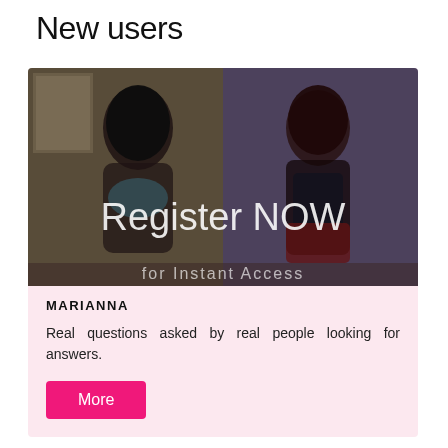New users
[Figure (photo): Promotional image with two women in lingerie with text overlay 'Register NOW for Instant Access']
MARIANNA
Real questions asked by real people looking for answers.
More